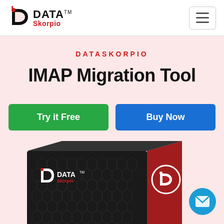[Figure (logo): DataSkorpio logo with stylized D icon, bold DATA text with TM mark, and red Skorpio text below]
[Figure (screenshot): Hamburger/menu icon button with three horizontal lines inside a bordered rounded rectangle]
DATASKORPIO
IMAP Migration Tool
Try it Free
Buy Now
[Figure (photo): DataSkorpio product box — dark hexagon-patterned black face with logo, and red side with DataSkorpio branding and D logo]
[Figure (illustration): Floating blue circular email/envelope button in bottom right corner]